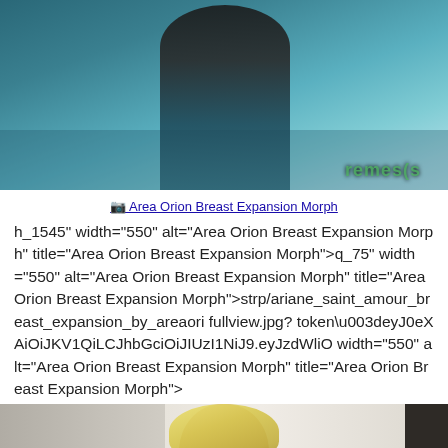[Figure (photo): Top portion of a photo showing a figure in teal/blue tones with watermark text visible at bottom right]
Area Orion Breast Expansion Morph
h_1545" width="550" alt="Area Orion Breast Expansion Morph" title="Area Orion Breast Expansion Morph">q_75" width="550" alt="Area Orion Breast Expansion Morph" title="Area Orion Breast Expansion Morph">strp/ariane_saint_amour_breast_expansion_by_areaori fullview.jpg? token\u003deyJ0eXAiOiJKV1QiLCJhbGciOiJIUzI1NiJ9.eyJzdWliO width="550" alt="Area Orion Breast Expansion Morph" title="Area Orion Breast Expansion Morph">
[Figure (photo): Bottom portion of a photo showing a blonde woman against a light background]